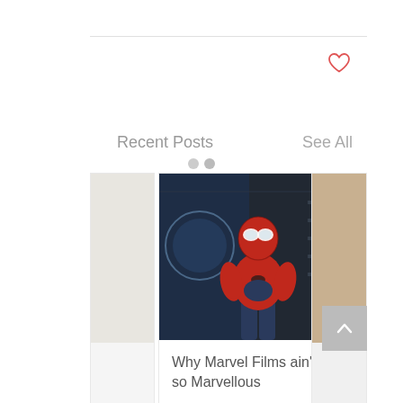[Figure (other): Heart/favorite icon outline in red, top right of page]
Recent Posts
See All
[Figure (other): Carousel dot indicators: two gray circles]
[Figure (photo): Spider-Man (Tom Holland) in red and blue suit standing in a dark room, facing forward]
Why Marvel Films ain’t so Marvellous
[Figure (other): Heart/like icon outline in red, below the article title]